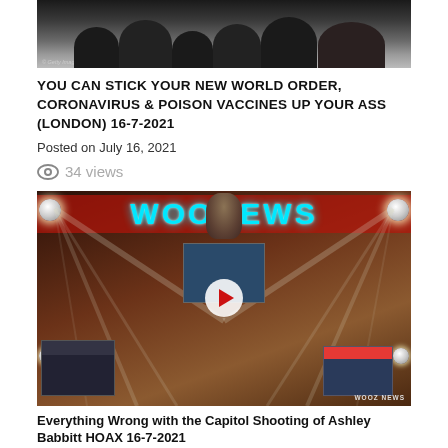[Figure (photo): Crowd of people, dark image with Getty Images watermark at bottom left]
YOU CAN STICK YOUR NEW WORLD ORDER, CORONAVIRUS & POISON VACCINES UP YOUR ASS (LONDON) 16-7-2021
Posted on July 16, 2021
34 views
[Figure (screenshot): Video thumbnail showing 'WOOZ NEWS' banner with a dog, spotlights, play button, and various screen insets]
Everything Wrong with the Capitol Shooting of Ashley Babbitt HOAX 16-7-2021
Posted on July 16, 2021